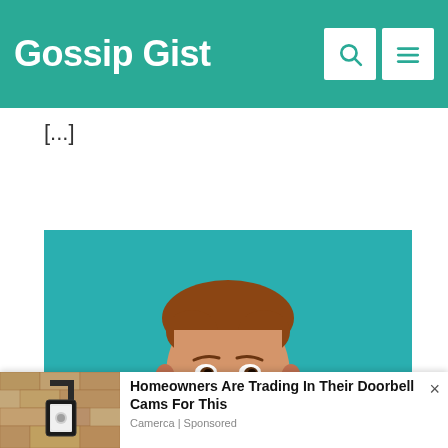Gossip Gist
[...]
[Figure (photo): Portrait photo of a young man with reddish-brown hair wearing a black t-shirt against a teal/turquoise background]
[Figure (photo): Advertisement banner: outdoor wall lamp with camera. Ad text: Homeowners Are Trading In Their Doorbell Cams For This. Camerca | Sponsored]